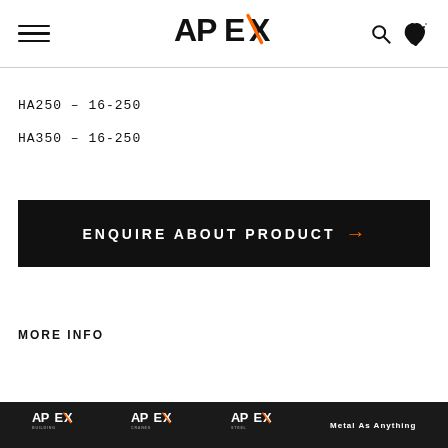APEX
HA250 – 16-250
HA350 – 16-250
ENQUIRE ABOUT PRODUCT →
MORE INFO
APEX | Metal As Anything